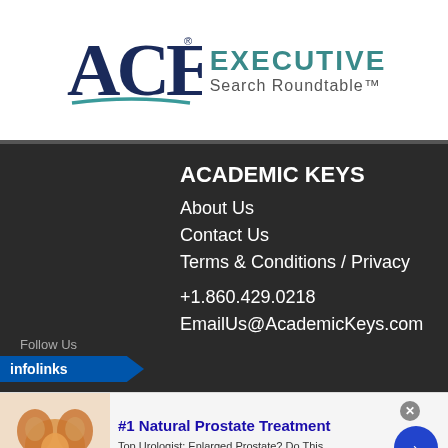[Figure (logo): ACE Executive Search Roundtable logo with stylized ACE letters in dark blue and teal text reading EXECUTIVE Search Roundtable with a teal swoosh underline]
ACADEMIC KEYS
About Us
Contact Us
Terms & Conditions / Privacy
+1.860.429.0218
EmailUs@AcademicKeys.com
Follow Us
[Figure (logo): infolinks badge in blue]
[Figure (photo): Advertisement image of prostate anatomy illustration]
#1 Natural Prostate Treatment
Top Urologist: Enlarged Prostate? Do This Immediately!
healthreport4u.com